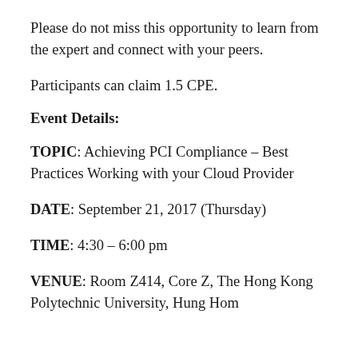Please do not miss this opportunity to learn from the expert and connect with your peers.
Participants can claim 1.5 CPE.
Event Details:
TOPIC: Achieving PCI Compliance – Best Practices Working with your Cloud Provider
DATE: September 21, 2017 (Thursday)
TIME: 4:30 – 6:00 pm
VENUE: Room Z414, Core Z, The Hong Kong Polytechnic University, Hung Hom